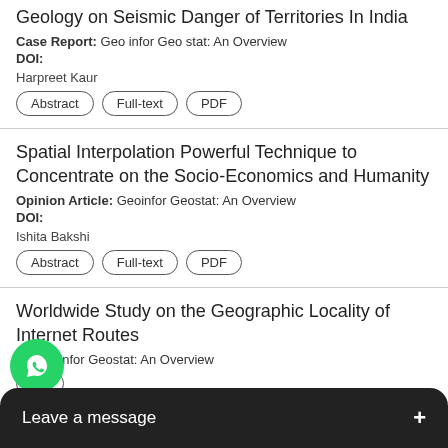Geology on Seismic Danger of Territories In India
Case Report: Geo infor Geo stat: An Overview
DOI:
Harpreet Kaur
Abstract | Full-text | PDF
Spatial Interpolation Powerful Technique to Concentrate on the Socio-Economics and Humanity
Opinion Article: Geoinfor Geostat: An Overview
DOI:
Ishita Bakshi
Abstract | Full-text | PDF
Worldwide Study on the Geographic Locality of Internet Routes
al: Geoinfor Geostat: An Overview
Ful...